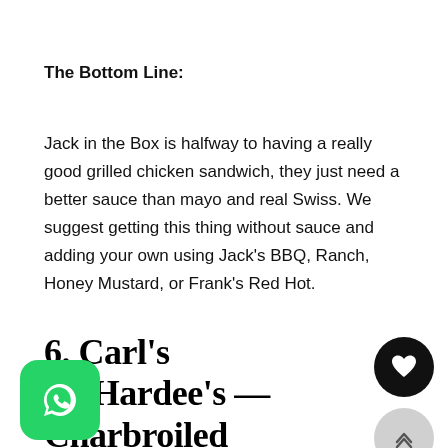The Bottom Line:
Jack in the Box is halfway to having a really good grilled chicken sandwich, they just need a better sauce than mayo and real Swiss. We suggest getting this thing without sauce and adding your own using Jack's BBQ, Ranch, Honey Mustard, or Frank's Red Hot.
6. Carl's Jr./Hardee's — Charbroiled Chicken Club Sandwich
[Figure (logo): WhatsApp green logo icon]
[Figure (other): Black circle with white heart icon (save/favourite button)]
[Figure (other): Grey circle with upward chevron arrows (scroll to top button)]